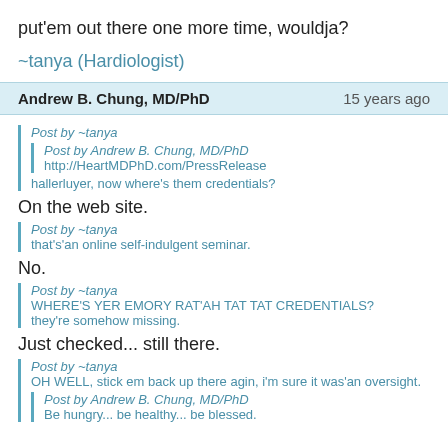put'em out there one more time, wouldja?
~tanya (Hardiologist)
Andrew B. Chung, MD/PhD   15 years ago
Post by ~tanya
Post by Andrew B. Chung, MD/PhD
http://HeartMDPhD.com/PressRelease
hallerluyer, now where's them credentials?
On the web site.
Post by ~tanya
that's'an online self-indulgent seminar.
No.
Post by ~tanya
WHERE'S YER EMORY RAT'AH TAT TAT CREDENTIALS?
they're somehow missing.
Just checked... still there.
Post by ~tanya
OH WELL, stick em back up there agin, i'm sure it was'an oversight.
Post by Andrew B. Chung, MD/PhD
Be hungry... be healthy... be blessed.